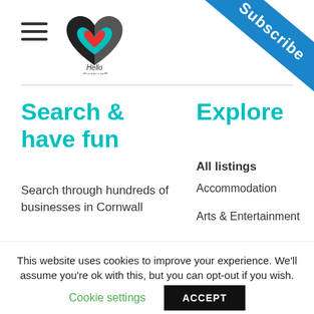Hello Cornwall - navigation header with logo and Subscribe ribbon
Search & have fun
Search through hundreds of businesses in Cornwall
Explore
All listings
Accommodation
Arts & Entertainment
This website uses cookies to improve your experience. We'll assume you're ok with this, but you can opt-out if you wish.
Cookie settings
ACCEPT